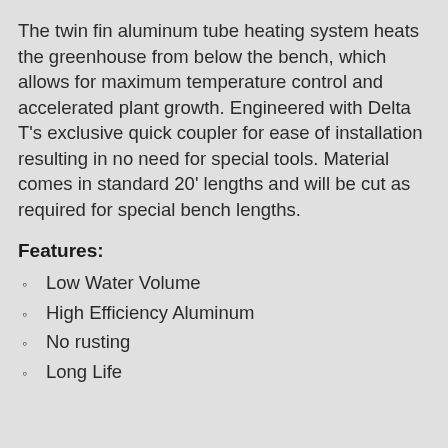The twin fin aluminum tube heating system heats the greenhouse from below the bench, which allows for maximum temperature control and accelerated plant growth. Engineered with Delta T's exclusive quick coupler for ease of installation resulting in no need for special tools. Material comes in standard 20' lengths and will be cut as required for special bench lengths.
Features:
Low Water Volume
High Efficiency Aluminum
No rusting
Long Life